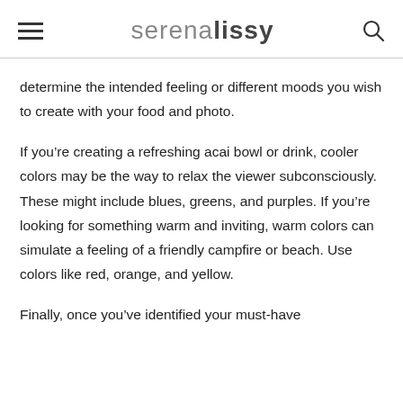serenalissy
determine the intended feeling or different moods you wish to create with your food and photo.
If you’re creating a refreshing acai bowl or drink, cooler colors may be the way to relax the viewer subconsciously. These might include blues, greens, and purples. If you’re looking for something warm and inviting, warm colors can simulate a feeling of a friendly campfire or beach. Use colors like red, orange, and yellow.
Finally, once you’ve identified your must-have